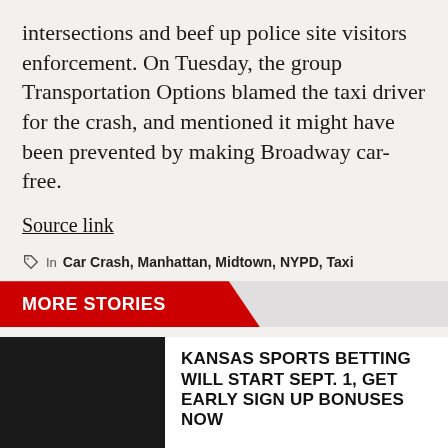intersections and beef up police site visitors enforcement. On Tuesday, the group Transportation Options blamed the taxi driver for the crash, and mentioned it might have been prevented by making Broadway car-free.
Source link
In Car Crash, Manhattan, Midtown, NYPD, Taxi
MORE STORIES
KANSAS SPORTS BETTING WILL START SEPT. 1, GET EARLY SIGN UP BONUSES NOW
Kansas sports betting will bear a delicate launch on Sept. 1, in accordance Kansas Lottery Govt…